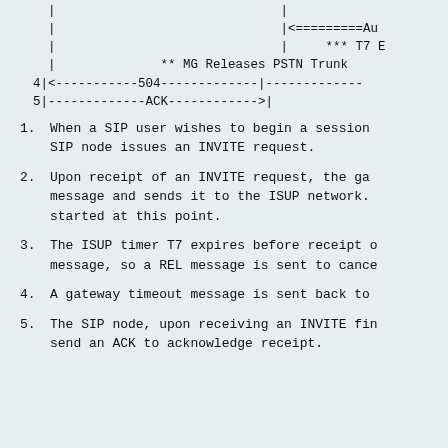[Figure (schematic): SIP/ISUP signaling diagram showing message flows with arrows. Lines 4 and 5 show 504 and ACK messages, with annotations for MG Releases PSTN Trunk and T7 timer expiry.]
When a SIP user wishes to begin a session SIP node issues an INVITE request.
Upon receipt of an INVITE request, the gateway message and sends it to the ISUP network. started at this point.
The ISUP timer T7 expires before receipt of message, so a REL message is sent to cancel
A gateway timeout message is sent back to
The SIP node, upon receiving an INVITE final response, must send an ACK to acknowledge receipt.